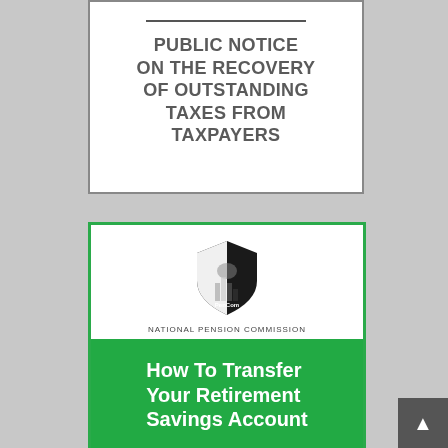PUBLIC NOTICE ON THE RECOVERY OF OUTSTANDING TAXES FROM TAXPAYERS
[Figure (logo): National Pension Commission (PenCom) shield logo with Nigerian coat of arms]
NATIONAL PENSION COMMISSION
How To Transfer Your Retirement Savings Account